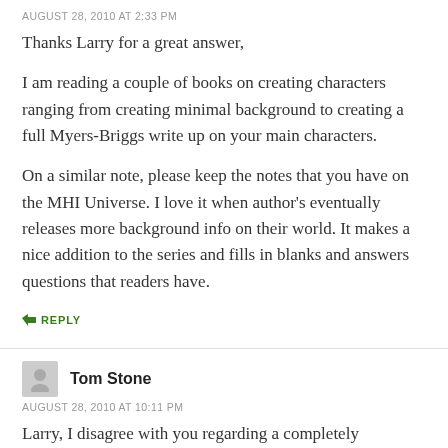AUGUST 28, 2010 AT 2:33 PM
Thanks Larry for a great answer,
I am reading a couple of books on creating characters ranging from creating minimal background to creating a full Myers-Briggs write up on your main characters.
On a similar note, please keep the notes that you have on the MHI Universe. I love it when author's eventually releases more background info on their world. It makes a nice addition to the series and fills in blanks and answers questions that readers have.
↳ REPLY
Tom Stone
AUGUST 28, 2010 AT 10:11 PM
Larry, I disagree with you regarding a completely